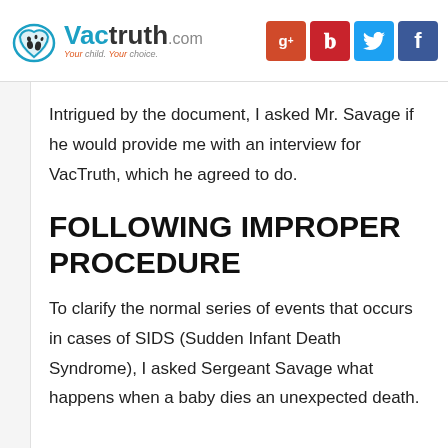VacTruth.com — Your child. Your choice. [Social icons: G+, Pinterest, Twitter, Facebook]
Intrigued by the document, I asked Mr. Savage if he would provide me with an interview for VacTruth, which he agreed to do.
FOLLOWING IMPROPER PROCEDURE
To clarify the normal series of events that occurs in cases of SIDS (Sudden Infant Death Syndrome), I asked Sergeant Savage what happens when a baby dies an unexpected death.